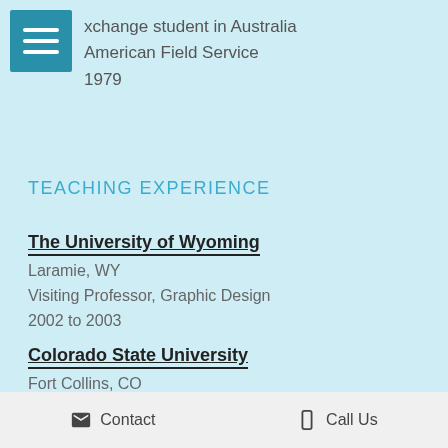xchange student in Australia
American Field Service
1979
TEACHING EXPERIENCE
The University of Wyoming
Laramie, WY
Visiting Professor, Graphic Design
2002 to 2003
Colorado State University
Fort Collins, CO
Adjunct Lecturer, Graphic Design and Illustration
2000 to 2003
GUEST LECTURES
Contact   Call Us